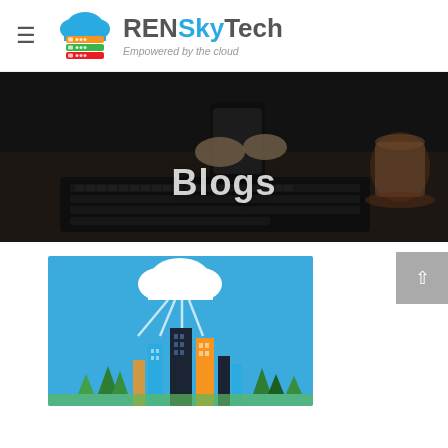[Figure (logo): RENSkyTech logo with cloud and stacked server icon, tagline: Empowered by the cloud]
[Figure (photo): Hero banner photo showing hands using a smartphone over a laptop keyboard with a coffee cup, dark overlay with 'Blogs' text]
Blogs
[Figure (illustration): Blue illustration of a smart city with buildings connected to a cloud via lines, with colorful trees]